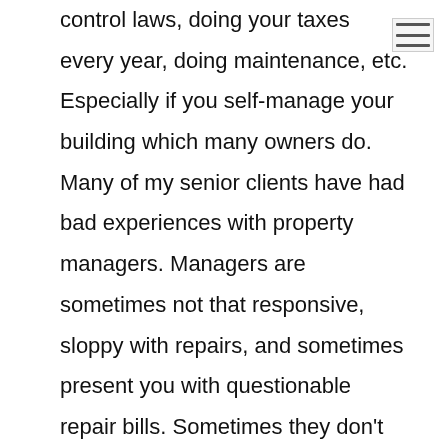control laws, doing your taxes every year, doing maintenance, etc. Especially if you self-manage your building which many owners do. Many of my senior clients have had bad experiences with property managers. Managers are sometimes not that responsive, sloppy with repairs, and sometimes present you with questionable repair bills. Sometimes they don't handle tenants properly and don't keep good records. So often owners that self-